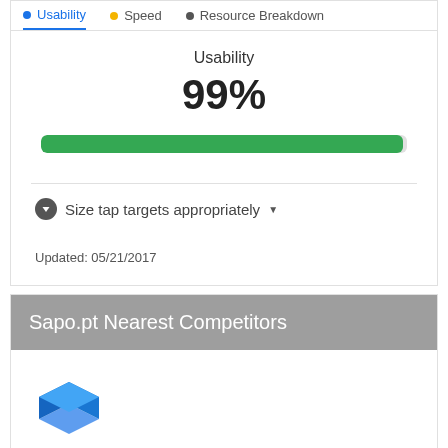Usability | Speed | Resource Breakdown
Usability
99%
[Figure (infographic): Horizontal green progress bar at approximately 99% fill]
Size tap targets appropriately
Updated: 05/21/2017
Sapo.pt Nearest Competitors
[Figure (logo): Blue 3D box/cube logo icon]